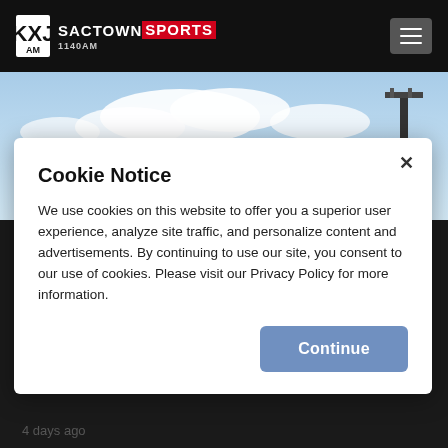SACTOWN SPORTS 1140AM
[Figure (photo): Partial view of a sports stadium with blue sky and white clouds, stadium light pole visible on the right]
Cookie Notice
We use cookies on this website to offer you a superior user experience, analyze site traffic, and personalize content and advertisements. By continuing to use our site, you consent to our use of cookies. Please visit our Privacy Policy for more information.
Continue
4 days ago